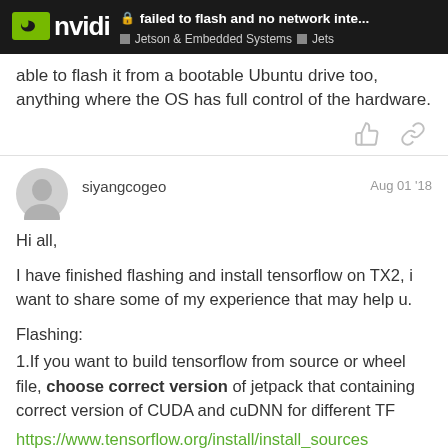failed to flash and no network inte... | Jetson & Embedded Systems | Jets
able to flash it from a bootable Ubuntu drive too, anything where the OS has full control of the hardware.
siyangcogeo  Aug 01 '18
Hi all,
I have finished flashing and install tensorflow on TX2, i want to share some of my experience that may help u.
Flashing:
1.If you want to build tensorflow from source or wheel file, choose correct version of jetpack that containing correct version of CUDA and cuDNN for different TF
https://www.tensorflow.org/install/install_sources
2.You dont have to selection all package